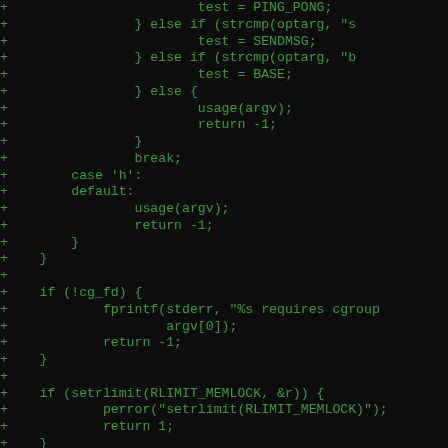[Figure (screenshot): A code diff screenshot on a dark background showing C code additions (lines prefixed with +) including a switch-case block handling options 'h' and 'default', conditional checks for cg_fd and setrlimit(RLIMIT_MEMLOCK), and a partial snprintf call. Code is displayed in green monospace font on black background.]